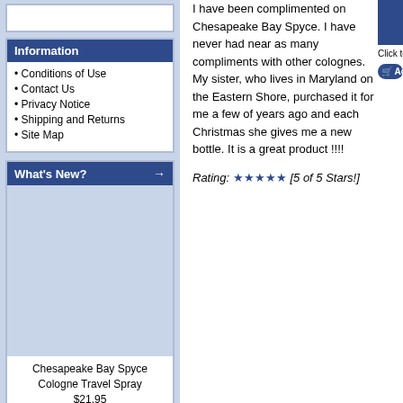Information
Conditions of Use
Contact Us
Privacy Notice
Shipping and Returns
Site Map
What's New?
[Figure (photo): Product image area for Chesapeake Bay Spyce Cologne Travel Spray]
Chesapeake Bay Spyce Cologne Travel Spray
$21.95
I have been complimented on Chesapeake Bay Spyce. I have never had near as many compliments with other colognes. My sister, who lives in Maryland on the Eastern Shore, purchased it for me a few of years ago and each Christmas she gives me a new bottle. It is a great product !!!!
Rating: ★★★★★ [5 of 5 Stars!]
[Figure (photo): Product box image (partial, right column)]
Click to en
Add to